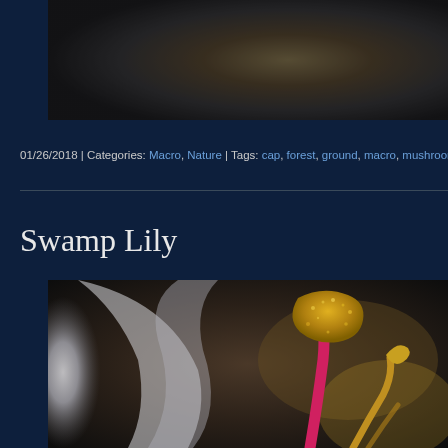[Figure (photo): Top portion of a macro nature/mushroom photo, partially visible, dark background with earthy tones]
01/26/2018 | Categories: Macro, Nature | Tags: cap, forest, ground, macro, mushroom | Comm…
Swamp Lily
[Figure (photo): Macro close-up photo of a Swamp Lily flower showing a prominent pink stamen with yellow pollen-covered anther, white petals in soft focus, and yellow stamens in the background, against a dark blurred background]